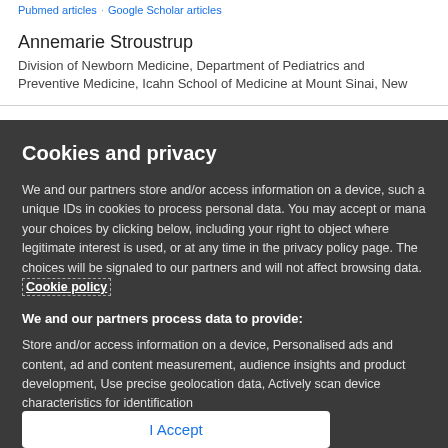Pubmed articles   Google Scholar articles
Annemarie Stroustrup
Division of Newborn Medicine, Department of Pediatrics and Preventive Medicine, Icahn School of Medicine at Mount Sinai, New
Cookies and privacy
We and our partners store and/or access information on a device, such a unique IDs in cookies to process personal data. You may accept or mana your choices by clicking below, including your right to object where legitimate interest is used, or at any time in the privacy policy page. The choices will be signaled to our partners and will not affect browsing data. Cookie policy
We and our partners process data to provide:
Store and/or access information on a device, Personalised ads and content, ad and content measurement, audience insights and product development, Use precise geolocation data, Actively scan device characteristics for identification
List of Partners (vendors)
I Accept